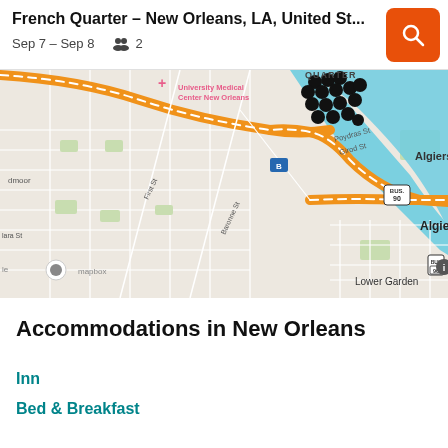French Quarter - New Orleans, LA, United St...  Sep 7 – Sep 8   2
[Figure (map): Street map of French Quarter area in New Orleans, LA showing Mapbox map with orange highway routes (BUS 90), Mississippi River (blue), neighborhood labels (Algiers Point, Algiers, Lower Garden, Broadmoor), street names (Poydras St, Girod St, Baronne St, First St, Teche St, Opelousas Ave), and clustered black dot markers in the French Quarter area, University Medical Center New Orleans label in pink]
Accommodations in New Orleans
Inn
Bed & Breakfast